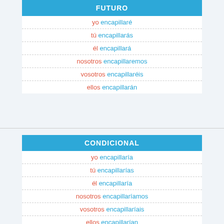| FUTURO |
| --- |
| yo encapillaré |
| tú encapillarás |
| él encapillará |
| nosotros encapillaremos |
| vosotros encapillaréis |
| ellos encapillarán |
| CONDICIONAL |
| --- |
| yo encapillaría |
| tú encapillarías |
| él encapillaría |
| nosotros encapillaríamos |
| vosotros encapillaríais |
| ellos encapillarían |